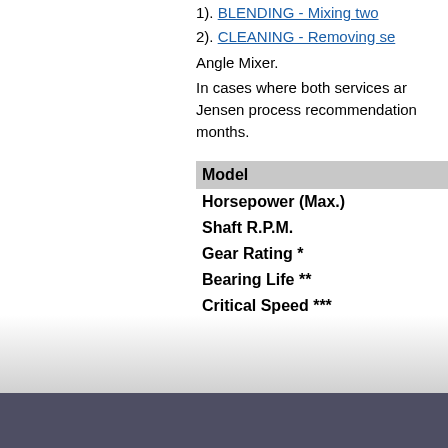1). BLENDING - Mixing two
2). CLEANING - Removing se
Angle Mixer.
In cases where both services ar Jensen process recommendation months.
| Model |
| --- |
| Horsepower (Max.) |
| Shaft R.P.M. |
| Gear Rating * |
| Bearing Life ** |
| Critical Speed *** |
* Equivalent A.G.M.A Class I
** B-10 Life (90% of the beari the mixer.
*** Propeller shaft first critica